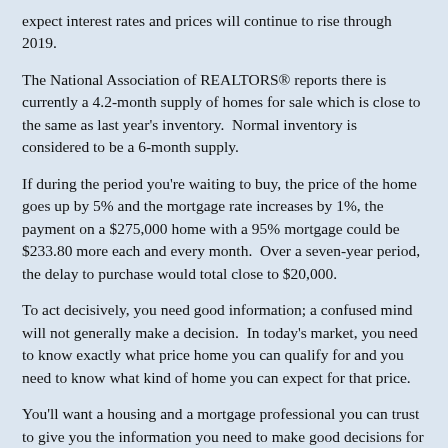expect interest rates and prices will continue to rise through 2019.
The National Association of REALTORS® reports there is currently a 4.2-month supply of homes for sale which is close to the same as last year's inventory.  Normal inventory is considered to be a 6-month supply.
If during the period you're waiting to buy, the price of the home goes up by 5% and the mortgage rate increases by 1%, the payment on a $275,000 home with a 95% mortgage could be $233.80 more each and every month.  Over a seven-year period, the delay to purchase would total close to $20,000.
To act decisively, you need good information; a confused mind will not generally make a decision.  In today's market, you need to know exactly what price home you can qualify for and you need to know what kind of home you can expect for that price.
You'll want a housing and a mortgage professional you can trust to give you the information you need to make good decisions for yourself and your family.  We'd like to be your real estate professional and can recommend a trusted mortgage professional.